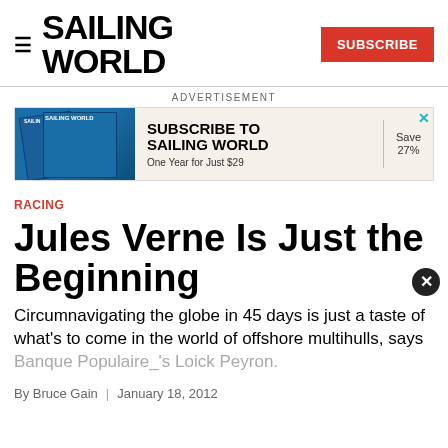SAILING WORLD | SUBSCRIBE
[Figure (infographic): Advertisement banner for Sailing World magazine subscription: 'SUBSCRIBE TO SAILING WORLD – One Year for Just $29, Save 27%']
RACING
Jules Verne Is Just the Beginning
Circumnavigating the globe in 45 days is just a taste of what's to come in the world of offshore multihulls, says Banque Populaire_'s Loick Peyron.
By Bruce Gain  |  January 18, 2012